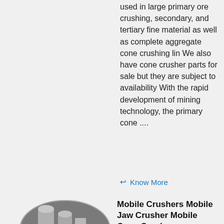used in large primary ore crushing, secondary, and tertiary fine material as well as complete aggregate cone crushing lin We also have cone crusher parts for sale but they are subject to availability With the rapid development of mining technology, the primary cone ....
Know More
[Figure (photo): Oval-shaped photo of industrial mobile crusher machinery in a facility]
Mobile Crushers Mobile Jaw Crusher Mobile Cone Crusher
The impact crusher range is ideal for shaping applications including making chips, sand, concrete manufacture, and glass recycling The Powerscreen range of mobile cone crushers are suitable for secondary and tertiary crushing in direct feed applications View the range...
Know More
Crusher Aggregate Equipment For